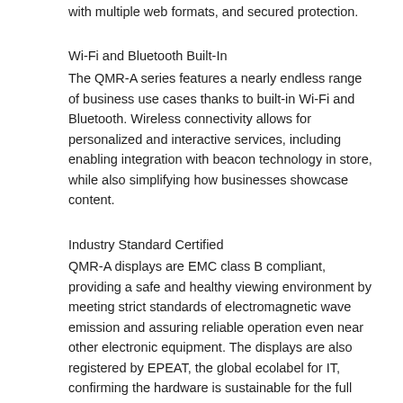with multiple web formats, and secured protection.
Wi-Fi and Bluetooth Built-In
The QMR-A series features a nearly endless range of business use cases thanks to built-in Wi-Fi and Bluetooth. Wireless connectivity allows for personalized and interactive services, including enabling integration with beacon technology in store, while also simplifying how businesses showcase content.
Industry Standard Certified
QMR-A displays are EMC class B compliant, providing a safe and healthy viewing environment by meeting strict standards of electromagnetic wave emission and assuring reliable operation even near other electronic equipment. The displays are also registered by EPEAT, the global ecolabel for IT, confirming the hardware is sustainable for the full product lifecycle, from design and production to energy use and recycling.